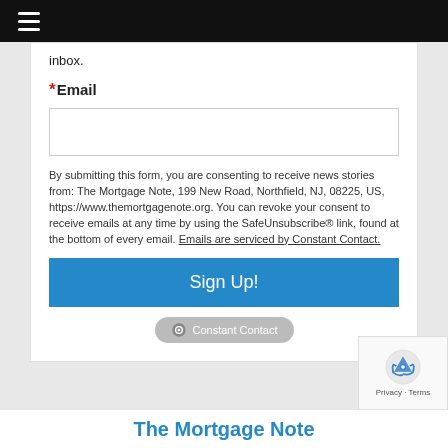Navigation menu bar
inbox.
*Email
By submitting this form, you are consenting to receive news stories from: The Mortgage Note, 199 New Road, Northfield, NJ, 08225, US, https://www.themortgagenote.org. You can revoke your consent to receive emails at any time by using the SafeUnsubscribe® link, found at the bottom of every email. Emails are serviced by Constant Contact.
Sign Up!
[Figure (logo): Constant Contact badge/logo pill]
[Figure (logo): reCAPTCHA logo with Privacy and Terms]
The Mortgage Note